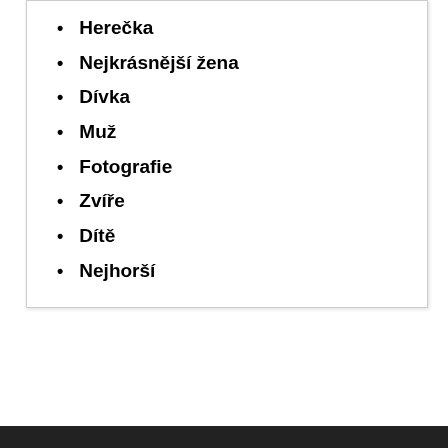Herečka
Nejkrásnější žena
Dívka
Muž
Fotografie
Zvíře
Dítě
Nejhorší